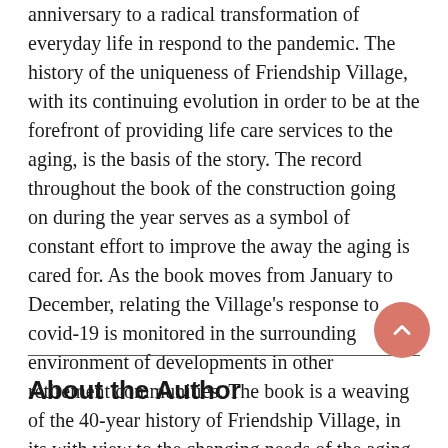anniversary to a radical transformation of everyday life in respond to the pandemic. The history of the uniqueness of Friendship Village, with its continuing evolution in order to be at the forefront of providing life care services to the aging, is the basis of the story. The record throughout the book of the construction going on during the year serves as a symbol of constant effort to improve the away the aging is cared for. As the book moves from January to December, relating the Village's response to covid-19 is monitored in the surrounding environment of developments in other retirement communities. The book is a weaving of the 40-year history of Friendship Village, in its with view to the changing needs of the aging and their care though the advent of a deadly one of the worst
About the Author